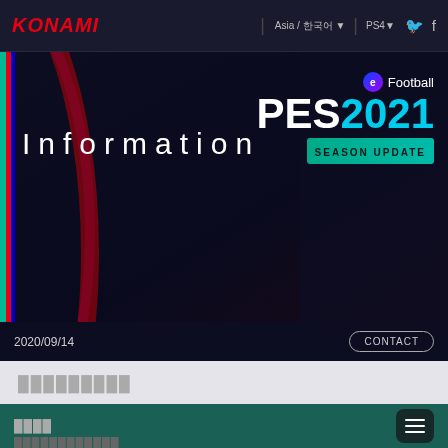KONAMI | Asia / 한국어 ▼ | PS4▼
Information
[Figure (logo): eFootball PES 2021 Season Update logo]
2020/09/14
CONTACT
█████████
████████████
████